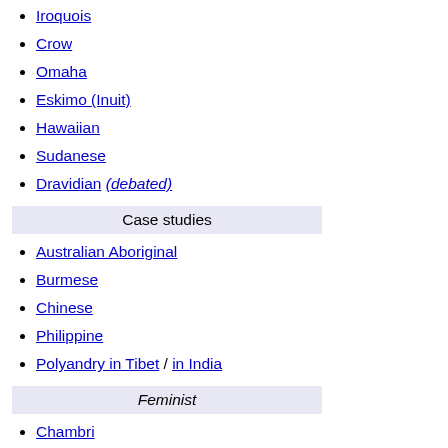Iroquois
Crow
Omaha
Eskimo (Inuit)
Hawaiian
Sudanese
Dravidian (debated)
Case studies
Australian Aboriginal
Burmese
Chinese
Philippine
Polyandry in Tibet / in India
Feminist
Chambri
Mosuo
Sexuality
Coming of Age in Samoa